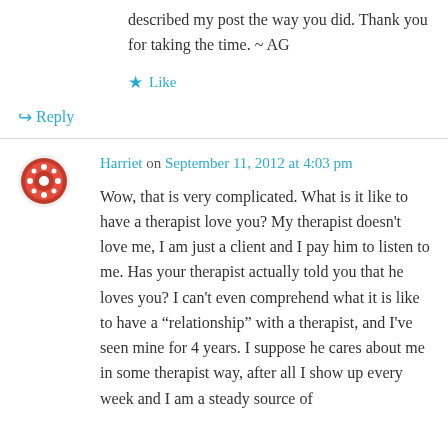described my post the way you did. Thank you for taking the time. ~ AG
★ Like
↳ Reply
Harriet on September 11, 2012 at 4:03 pm
Wow, that is very complicated. What is it like to have a therapist love you? My therapist doesn't love me, I am just a client and I pay him to listen to me. Has your therapist actually told you that he loves you? I can't even comprehend what it is like to have a "relationship" with a therapist, and I've seen mine for 4 years. I suppose he cares about me in some therapist way, after all I show up every week and I am a steady source of